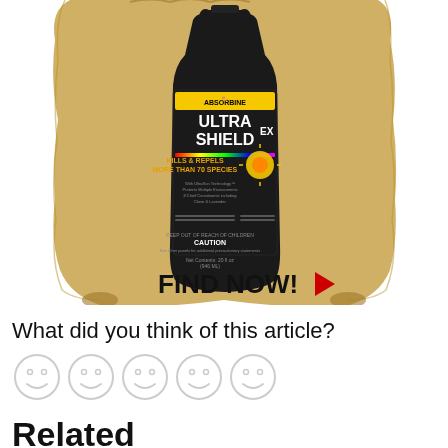[Figure (illustration): Advertisement for Absorbine Ultra Shield EX insect repellent product. Shows a dark bottle with the product label on a parchment/scroll background. Text on bottle reads: ULTRA SHIELD EX, KILLS & REPELS MORE THAN 70 SPECIES. A red play arrow next to FIND NOW! text at bottom of the ad.]
FIND NOW!
What did you think of this article?
[Figure (illustration): Five smiley face emoji icons in a row for article rating]